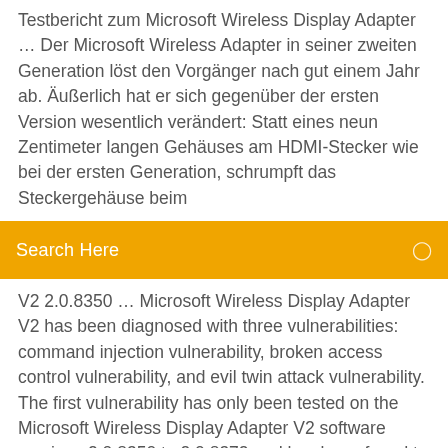Testbericht zum Microsoft Wireless Display Adapter … Der Microsoft Wireless Adapter in seiner zweiten Generation löst den Vorgänger nach gut einem Jahr ab. Äußerlich hat er sich gegenüber der ersten Version wesentlich verändert: Statt eines neun Zentimeter langen Gehäuses am HDMI-Stecker wie bei der ersten Generation, schrumpft das Steckergehäuse beim
Search Here
V2 2.0.8350 … Microsoft Wireless Display Adapter V2 has been diagnosed with three vulnerabilities: command injection vulnerability, broken access control vulnerability, and evil twin attack vulnerability. The first vulnerability has only been tested on the Microsoft Wireless Display Adapter V2 software versions 2.0.8350 to 2.0.8372 and has been found to impact all the versions in this range. The broken Microsoft Wireless Display Adapter Version 2 (P3Q … Microsoft Wireless Display Adapter - v2 - wireless video/audio extender Device Type Wireless video/audio extender Form Factor External Max Transfer